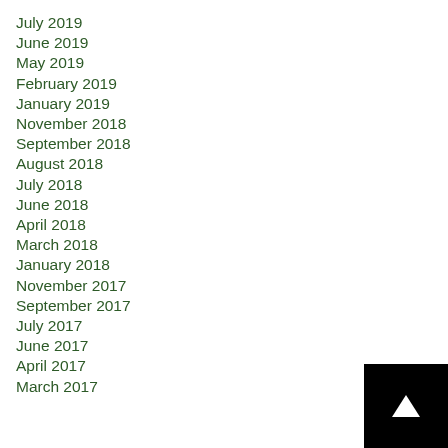July 2019
June 2019
May 2019
February 2019
January 2019
November 2018
September 2018
August 2018
July 2018
June 2018
April 2018
March 2018
January 2018
November 2017
September 2017
July 2017
June 2017
April 2017
March 2017